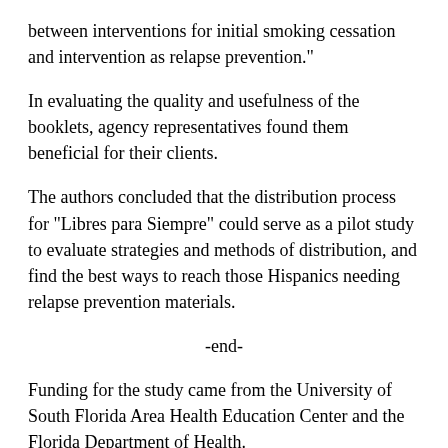between interventions for initial smoking cessation and intervention as relapse prevention."
In evaluating the quality and usefulness of the booklets, agency representatives found them beneficial for their clients.
The authors concluded that the distribution process for "Libres para Siempre" could serve as a pilot study to evaluate strategies and methods of distribution, and find the best ways to reach those Hispanics needing relapse prevention materials.
-end-
Funding for the study came from the University of South Florida Area Health Education Center and the Florida Department of Health.
About Moffitt Cancer Center